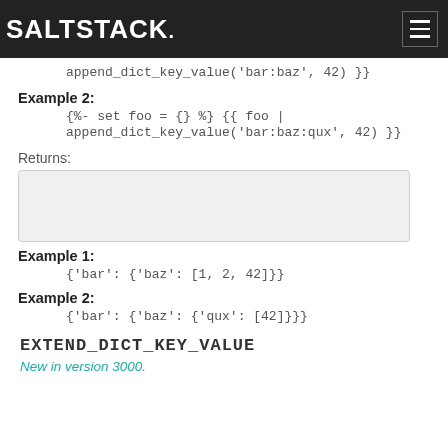SALTSTACK
append_dict_key_value('bar:baz', 42) }}
Example 2:
{%- set foo = {} %} {{ foo | append_dict_key_value('bar:baz:qux', 42) }}
Returns:
[Figure (other): Empty grey code output box]
Example 1:
{'bar': {'baz': [1, 2, 42]}}
Example 2:
{'bar': {'baz': {'qux': [42]}}}
EXTEND_DICT_KEY_VALUE
New in version 3000.